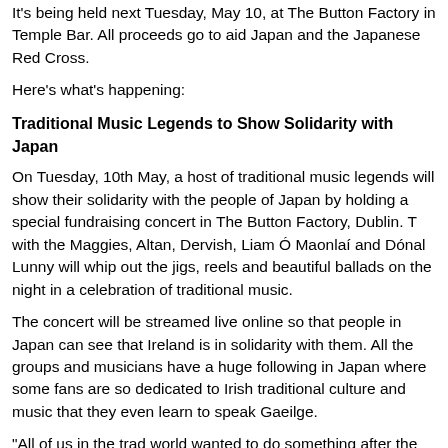It's being held next Tuesday, May 10, at The Button Factory in Temple Bar. All proceeds go to aid Japan and the Japanese Red Cross.
Here's what's happening:
Traditional Music Legends to Show Solidarity with Japan
On Tuesday, 10th May, a host of traditional music legends will show their solidarity with the people of Japan by holding a special fundraising concert in The Button Factory, Dublin. T with the Maggies, Altan, Dervish, Liam Ó Maonlaí and Dónal Lunny will whip out the jigs, reels and beautiful ballads on the night in a celebration of traditional music.
The concert will be streamed live online so that people in Japan can see that Ireland is in solidarity with them. All the groups and musicians have a huge following in Japan where some fans are so dedicated to Irish traditional culture and music that they even learn to speak Gaeilge.
"All of us in the trad world wanted to do something after the years of support the Japanese have given to both Altan and